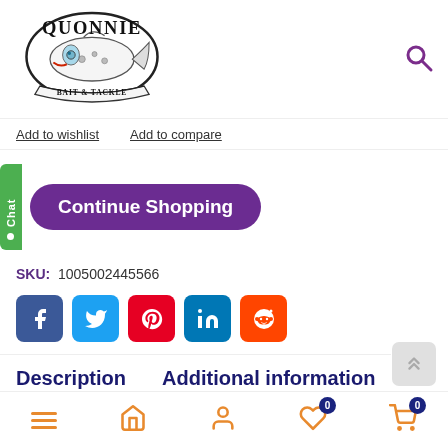[Figure (logo): Quonnie Bait & Tackle logo with illustrated fish]
Quonnie Bait & Tackle - search icon
Add to wishlist   Add to compare
Continue Shopping
SKU:  1005002445566
[Figure (infographic): Social media share buttons: Facebook, Twitter, Pinterest, LinkedIn, Reddit]
Description   Additional information